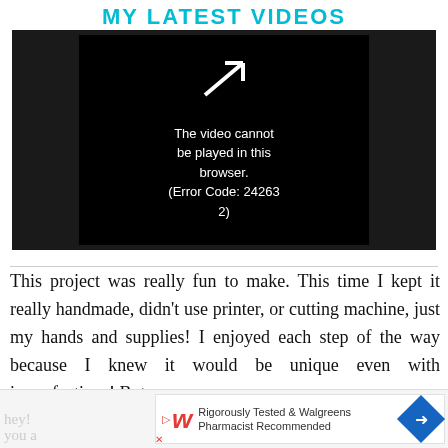MY LATEST VIDEOS
[Figure (screenshot): Video player showing error message: The video cannot be played in this browser. (Error Code: 242632)]
This project was really fun to make. This time I kept it really handmade, didn't use printer, or cutting machine, just my hands and supplies! I enjoyed each step of the way because I knew it would be unique even with imperfections! But hey! ... le you a...
[Figure (screenshot): Advertisement banner: Rigorously Tested & Walgreens Pharmacist Recommended]